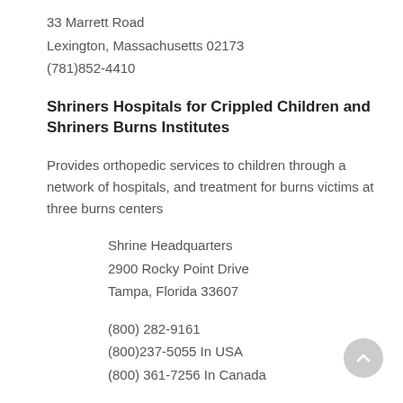33 Marrett Road
Lexington, Massachusetts 02173
(781)852-4410
Shriners Hospitals for Crippled Children and Shriners Burns Institutes
Provides orthopedic services to children through a network of hospitals, and treatment for burns victims at three burns centers
Shrine Headquarters
2900 Rocky Point Drive
Tampa, Florida 33607
(800) 282-9161
(800)237-5055 In USA
(800) 361-7256 In Canada